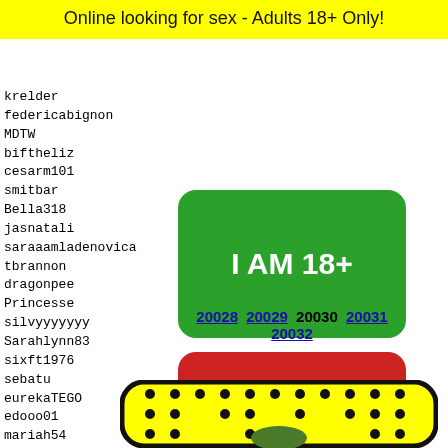Online looking for sex - Adults 18+ Only!
krelder
federicabignon
MDTW
biftheliz
cesarm101
smitbar
Bella318
jasnatali
saraaamladenovica
tbrannon
dragonpee
Princesse
silvyyyyyyy
Sarahlynn83
sixft1976
sebatu
eurekaTEGO
edooo01
mariah54
nerea0226
svpxrb
J_Loll
electr
Millic
sexiba
goram7
[Figure (other): Green button with text I AM 18+]
[Figure (other): Red button with text EXIT]
20028 20029 20030 20031 20032
[Figure (illustration): Yellow rounded rectangle with black dots pattern and a cartoon frog face at the bottom]